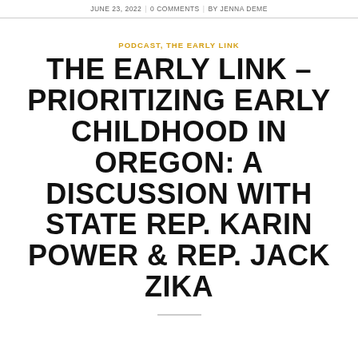JUNE 23, 2022 | 0 COMMENTS | BY JENNA DEME
PODCAST, THE EARLY LINK
THE EARLY LINK – PRIORITIZING EARLY CHILDHOOD IN OREGON: A DISCUSSION WITH STATE REP. KARIN POWER & REP. JACK ZIKA